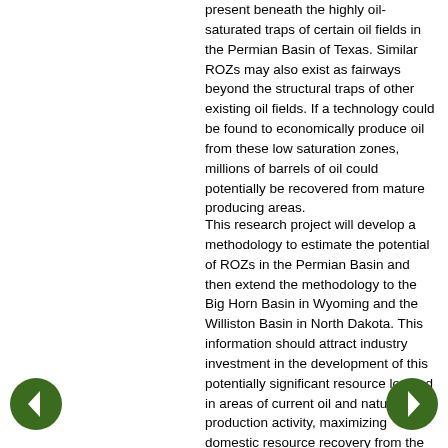present beneath the highly oil-saturated traps of certain oil fields in the Permian Basin of Texas. Similar ROZs may also exist as fairways beyond the structural traps of other existing oil fields. If a technology could be found to economically produce oil from these low saturation zones, millions of barrels of oil could potentially be recovered from mature producing areas.
This research project will develop a methodology to estimate the potential of ROZs in the Permian Basin and then extend the methodology to the Big Horn Basin in Wyoming and the Williston Basin in North Dakota. This information should attract industry investment in the development of this potentially significant resource located in areas of current oil and natural gas production activity, maximizing domestic resource recovery from the existing environmental footprint. DOE share: $859,000; Recipient share: $384,000; Duration: 3 years